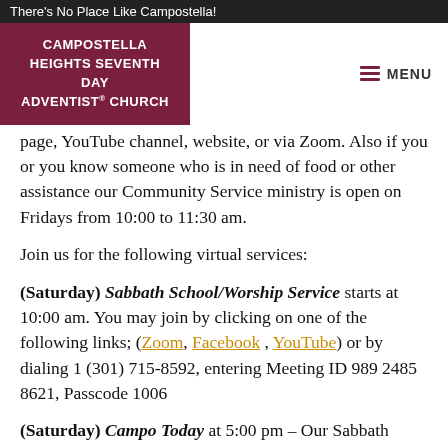There's No Place Like Campostella!
CAMPOSTELLA HEIGHTS SEVENTH DAY ADVENTIST® CHURCH
page, YouTube channel, website, or via Zoom. Also if you or you know someone who is in need of food or other assistance our Community Service ministry is open on Fridays from 10:00 to 11:30 am.
Join us for the following virtual services:
(Saturday) Sabbath School/Worship Service starts at 10:00 am. You may join by clicking on one of the following links; (Zoom, Facebook, YouTube) or by dialing 1 (301) 715-8592, entering Meeting ID 989 2485 8621, Passcode 1006
(Saturday) Campo Today at 5:00 pm - Our Sabbath afternoon bible study. (Zoom, Facebook, or YouTube) or by dialing 1 (301) 715-8592, entering